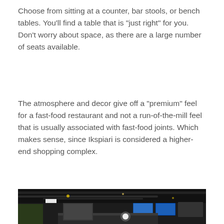Choose from sitting at a counter, bar stools, or bench tables. You'll find a table that is "just right" for you. Don't worry about space, as there are a large number of seats available.
The atmosphere and decor give off a "premium" feel for a fast-food restaurant and not a run-of-the-mill feel that is usually associated with fast-food joints. Which makes sense, since Ikspiari is considered a higher-end shopping complex.
[Figure (photo): Interior of a fast-food restaurant showing an industrial-style ceiling with exposed pipes and ducts, pendant lights, a white cylindrical column, digital menu screens on the wall, and customers at the counter. The image is partially cut off at the bottom.]